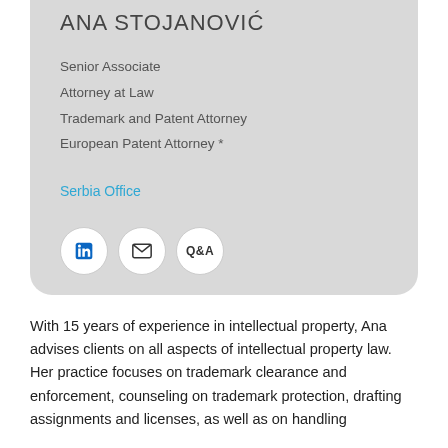ANA STOJANOVIĆ
Senior Associate
Attorney at Law
Trademark and Patent Attorney
European Patent Attorney *
Serbia Office
With 15 years of experience in intellectual property, Ana advises clients on all aspects of intellectual property law. Her practice focuses on trademark clearance and enforcement, counseling on trademark protection, drafting assignments and licenses, as well as on handling